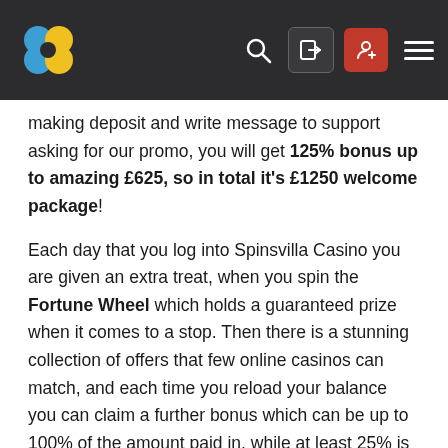Spinsvilla Casino navigation header with clover logo, search, login, register, and menu icons
making deposit and write message to support asking for our promo, you will get 125% bonus up to amazing £625, so in total it's £1250 welcome package!
Each day that you log into Spinsvilla Casino you are given an extra treat, when you spin the Fortune Wheel which holds a guaranteed prize when it comes to a stop. Then there is a stunning collection of offers that few online casinos can match, and each time you reload your balance you can claim a further bonus which can be up to 100% of the amount paid in, while at least 25% is assured with every deposit.
That's not all however, as there are midweek and weekend bonus deals, cashback on the slots games, big tournaments and rewards for referring friends and family, which adds up to an exceptional collection of offers.